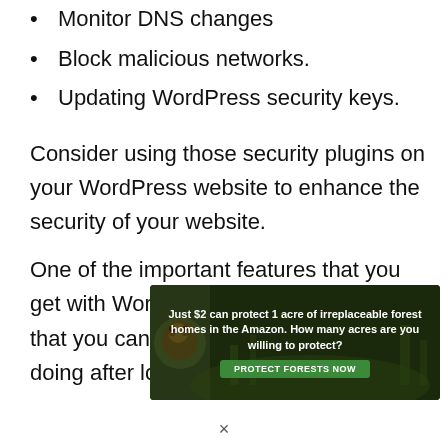Monitor DNS changes
Block malicious networks.
Updating WordPress security keys.
Consider using those security plugins on your WordPress website to enhance the security of your website.
One of the important features that you get with WordPress security plugins is that you can see what the users are doing after logging in to your
[Figure (infographic): Advertisement banner: 'Just $2 can protect 1 acre of irreplaceable forest homes in the Amazon. How many acres are you willing to protect?' with a green PROTECT FORESTS NOW button, dark background with forest imagery and an orangutan.]
×